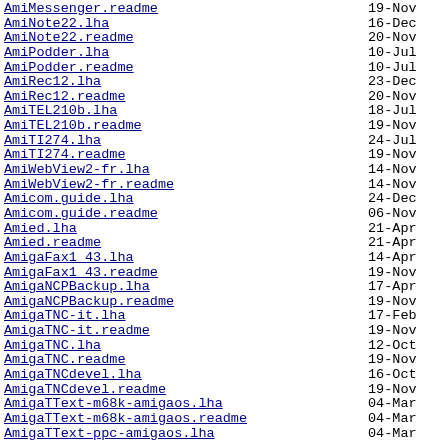AmiMessenger.readme  19-Nov
AmiNote22.lha  16-Dec
AmiNote22.readme  20-Nov
AmiPodder.lha  10-Jul
AmiPodder.readme  10-Jul
AmiRec12.lha  23-Dec
AmiRec12.readme  20-Nov
AmiTEL210b.lha  18-Jul
AmiTEL210b.readme  19-Nov
AmiTI274.lha  24-Jul
AmiTI274.readme  19-Nov
AmiWebView2-fr.lha  14-Nov
AmiWebView2-fr.readme  14-Nov
Amicom.guide.lha  24-Dec
Amicom.guide.readme  06-Nov
Amied.lha  21-Apr
Amied.readme  21-Apr
AmigaFax1_43.lha  14-Apr
AmigaFax1_43.readme  19-Nov
AmigaNCPBackup.lha  17-Apr
AmigaNCPBackup.readme  19-Nov
AmigaTNC-it.lha  17-Feb
AmigaTNC-it.readme  19-Nov
AmigaTNC.lha  12-Oct
AmigaTNC.readme  19-Nov
AmigaTNCdevel.lha  16-Oct
AmigaTNCdevel.readme  19-Nov
AmigaTText-m68k-amigaos.lha  04-Mar
AmigaTText-m68k-amigaos.readme  04-Mar
AmigaTText-ppc-amigaos.lha  04-Mar